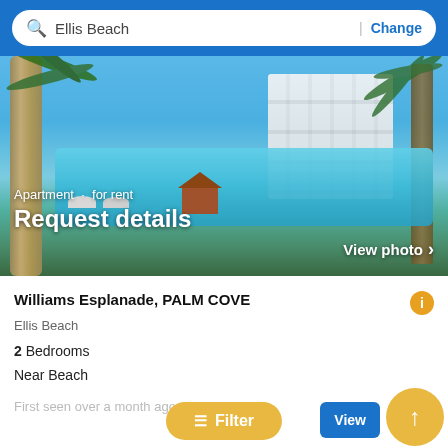Ellis Beach | Change
[Figure (photo): Tropical resort property with large swimming pool, palm trees, white multi-story building, gazebo, and beach umbrellas under blue sky]
Apartment · for rent
Request details
Williams Esplanade, PALM COVE
Ellis Beach
2 Bedrooms
Near Beach
First seen over a month ago so apply
View
Filter